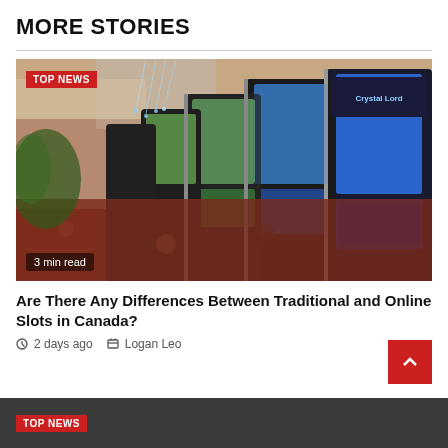MORE STORIES
[Figure (photo): Row of casino slot machines in a casino interior with chandeliers and decorative lighting. A 'TOP NEWS' badge is overlaid in the top-left corner, and '3 min read' label is overlaid in the bottom-left corner.]
Are There Any Differences Between Traditional and Online Slots in Canada?
2 days ago   Logan Leo
[Figure (other): Dark gray bottom strip with a red TOP NEWS badge]